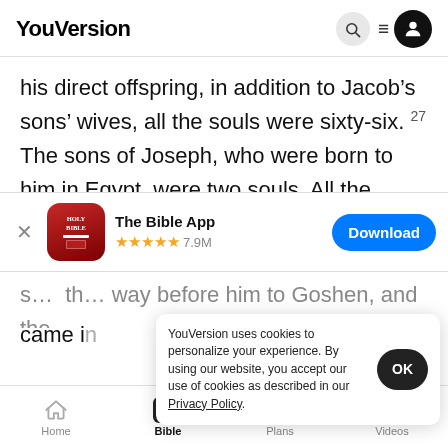YouVersion
his direct offspring, in addition to Jacob’s sons’ wives, all the souls were sixty-six. 27 The sons of Joseph, who were born to him in Egypt, were two souls. All the souls of the house of Jacob, who
[Figure (screenshot): App download banner for The Bible App with HOLY BIBLE icon, 5 stars rating, 7.9M reviews, and Download button]
s... th... way before him to Goshen, and the came in...
YouVersion uses cookies to personalize your experience. By using our website, you accept our use of cookies as described in our Privacy Policy.
his chariot, and went up to meet Israel, his father.
Home  Bible  Plans  Videos